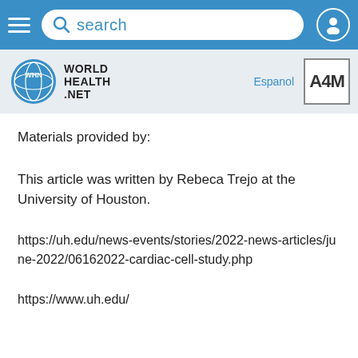[Figure (screenshot): Blue navigation bar with hamburger menu icon, search bar with magnifying glass icon and 'search' placeholder text, and a user profile icon on the right.]
[Figure (logo): World Health Net logo with circular globe icon and text 'WORLD HEALTH .NET', Espanol link, and A4M logo box on the right.]
Materials provided by:
This article was written by Rebeca Trejo at the University of Houston.
https://uh.edu/news-events/stories/2022-news-articles/june-2022/06162022-cardiac-cell-study.php
https://www.uh.edu/